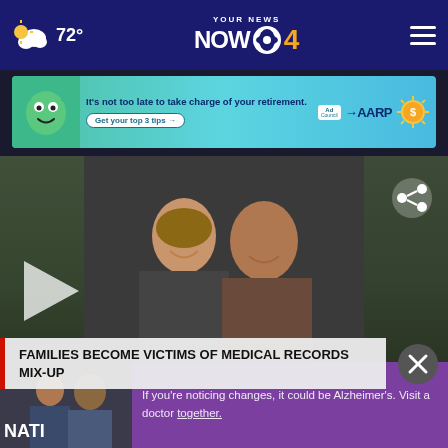72° YOUR NEWS NOW CBS 4
[Figure (screenshot): AARP Ad Council advertisement banner: 'It's not too late to take charge of your retirement. Get your top 3 tips →' with green mascot, Ad Council and AARP logos, and gold coin sun graphic on teal/blue gradient background]
[Figure (photo): Main video thumbnail showing an elderly couple (woman and man) smiling and embracing, with a hospital building visible in the background left and right sides. A play button triangle is visible in the lower left. A share icon is in the upper right.]
FAMILIES BECOME VICTIMS OF MEDICAL RECORDS MIX-UP
[Figure (photo): Bottom thumbnail showing two men, one older and one younger, in an outdoor setting]
[Figure (screenshot): Purple advertisement overlay: 'If you're noticing changes, it could be Alzheimer's. Visit a doctor together.']
NATI